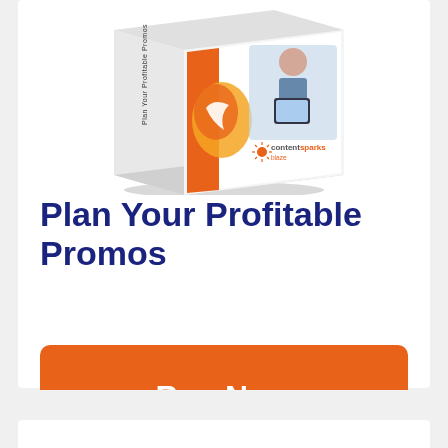[Figure (illustration): 3D product box for 'Plan Your Profitable Promos' by contentsparks blaze, featuring orange and white branding with a person using a tablet/phone visible on the box cover.]
Plan Your Profitable Promos
Buy Now $297